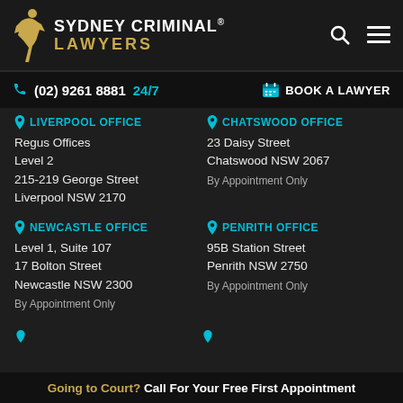[Figure (logo): Sydney Criminal Lawyers logo with golden figure statue and text]
(02) 9261 8881 24/7   BOOK A LAWYER
LIVERPOOL OFFICE
Regus Offices
Level 2
215-219 George Street
Liverpool NSW 2170
CHATSWOOD OFFICE
23 Daisy Street
Chatswood NSW 2067

By Appointment Only
NEWCASTLE OFFICE
Level 1, Suite 107
17 Bolton Street
Newcastle NSW 2300

By Appointment Only
PENRITH OFFICE
95B Station Street
Penrith NSW 2750

By Appointment Only
Going to Court? Call For Your Free First Appointment